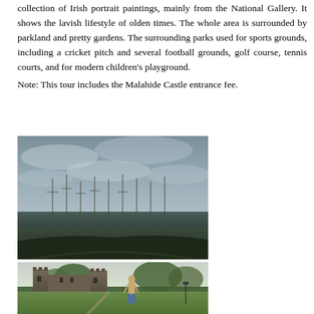collection of Irish portrait paintings, mainly from the National Gallery. It shows the lavish lifestyle of olden times. The whole area is surrounded by parkland and pretty gardens. The surrounding parks used for sports grounds, including a cricket pitch and several football grounds, golf course, tennis courts, and for modern children's playground.
Note: This tour includes the Malahide Castle entrance fee.
[Figure (photo): Outdoor photograph showing a marina or harbour with boats and masts visible against a grey overcast sky, with dark foreground vegetation.]
[Figure (photo): Photograph of a person standing on a lawn in front of Malahide Castle, a medieval castle with towers, surrounded by trees and green grass.]